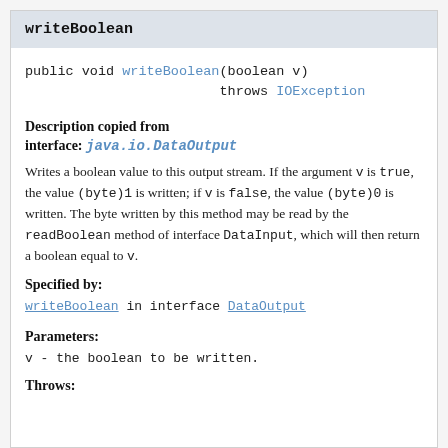writeBoolean
public void writeBoolean(boolean v)
                throws IOException
Description copied from interface: java.io.DataOutput
Writes a boolean value to this output stream. If the argument v is true, the value (byte)1 is written; if v is false, the value (byte)0 is written. The byte written by this method may be read by the readBoolean method of interface DataInput, which will then return a boolean equal to v.
Specified by:
writeBoolean in interface DataOutput
Parameters:
v - the boolean to be written.
Throws: